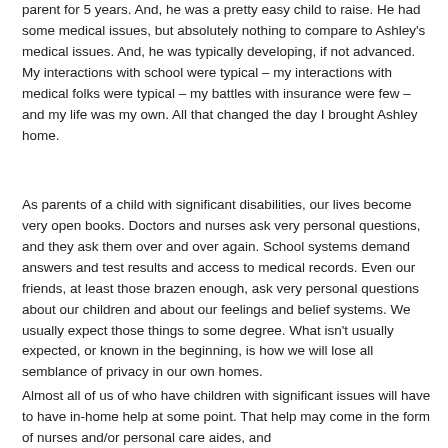parent for 5 years. And, he was a pretty easy child to raise. He had some medical issues, but absolutely nothing to compare to Ashley's medical issues. And, he was typically developing, if not advanced. My interactions with school were typical – my interactions with medical folks were typical – my battles with insurance were few – and my life was my own. All that changed the day I brought Ashley home.
As parents of a child with significant disabilities, our lives become very open books. Doctors and nurses ask very personal questions, and they ask them over and over again. School systems demand answers and test results and access to medical records. Even our friends, at least those brazen enough, ask very personal questions about our children and about our feelings and belief systems. We usually expect those things to some degree. What isn't usually expected, or known in the beginning, is how we will lose all semblance of privacy in our own homes.
Almost all of us of who have children with significant issues will have to have in-home help at some point. That help may come in the form of nurses and/or personal care aides, and